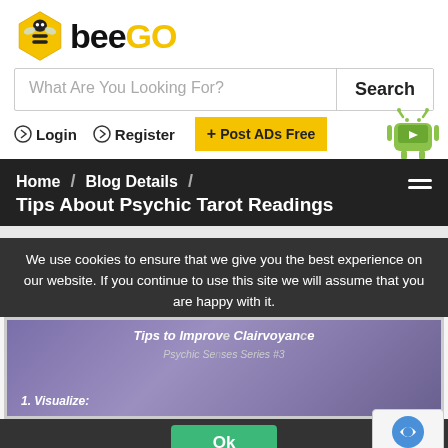[Figure (logo): BeeGo logo with bee icon in hexagon and stylized text]
What Are You Looking For?
Search
→ Login   → Register   + Post ADs Free
Home / Blog Details / Tips About Psychic Tarot Readings
We use cookies to ensure that we give you the best experience on our website. If you continue to use this site we will assume that you are happy with it.
Ok
[Figure (illustration): Purple/blue background card image showing 'Tips to Improve Clairvoyance Psychic Senses Series #3' with '1. Visualize:' text]
Tips to Improve Clairvoyance
Psychic Senses Series #3
1. Visualize: